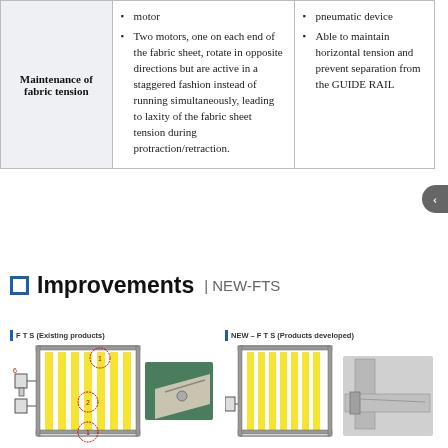|  | FTS (Existing products) | NEW-FTS (Products developed) |
| --- | --- | --- |
| Maintenance of fabric tension | Two motors, one on each end of the fabric sheet, rotate in opposite directions but are active in a staggered fashion instead of running simultaneously, leading to laxity of the fabric sheet tension during protraction/retraction. | Able to maintain horizontal tension and prevent separation from the GUIDE RAIL |
Improvements | NEW-FTS
[Figure (engineering-diagram): Two side-by-side comparison diagrams: left shows FTS (Existing products) with a fabric sheet system showing two motors and guide rail with red circle annotations; right shows NEW-FTS (Products developed) with improved single-motor fabric sheet system with close-up detail of corner tension mechanism]